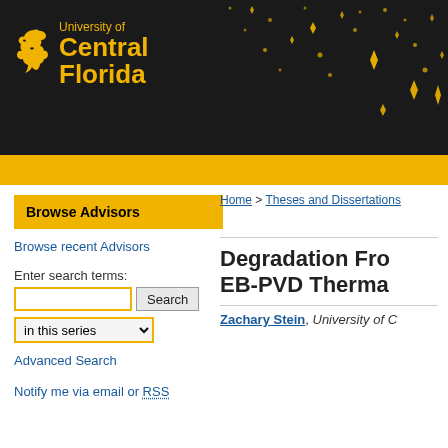[Figure (logo): University of Central Florida logo and header banner with black background, gold UCF pegasus icon, gold text reading 'University of Central Florida', and scattered gold star/sparkle decorations across the banner]
University of Central Florida
Browse Advisors
Browse recent Advisors
Enter search terms:
in this series
Advanced Search
Notify me via email or RSS
Home > Theses and Dissertations
Degradation From EB-PVD Therma
Zachary Stein, University of C